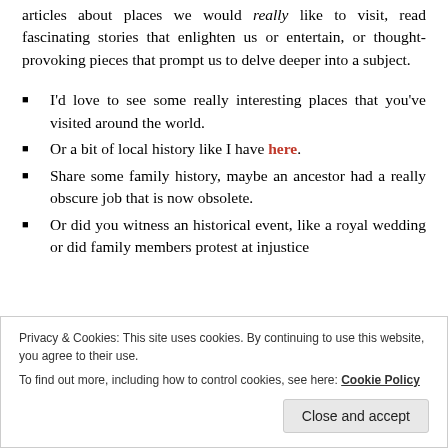articles about places we would really like to visit, read fascinating stories that enlighten us or entertain, or thought-provoking pieces that prompt us to delve deeper into a subject.
I'd love to see some really interesting places that you've visited around the world.
Or a bit of local history like I have here.
Share some family history, maybe an ancestor had a really obscure job that is now obsolete.
Or did you witness an historical event, like a royal wedding or did family members protest at injustice
Privacy & Cookies: This site uses cookies. By continuing to use this website, you agree to their use. To find out more, including how to control cookies, see here: Cookie Policy